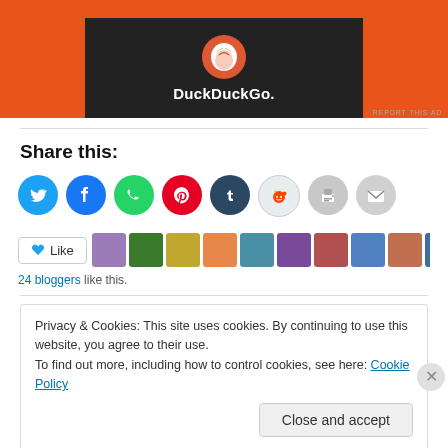[Figure (screenshot): DuckDuckGo advertisement banner with orange background and dark panel showing the DuckDuckGo logo and name]
Share this:
[Figure (infographic): Row of social sharing icon circles: Twitter (blue), Facebook (blue), WhatsApp (green), Pinterest (red), Tumblr (dark blue), Reddit (light gray), Print (gray), Email (gray)]
[Figure (infographic): Like button and row of blogger avatars showing 24 bloggers like this]
24 bloggers like this.
Privacy & Cookies: This site uses cookies. By continuing to use this website, you agree to their use.
To find out more, including how to control cookies, see here: Cookie Policy